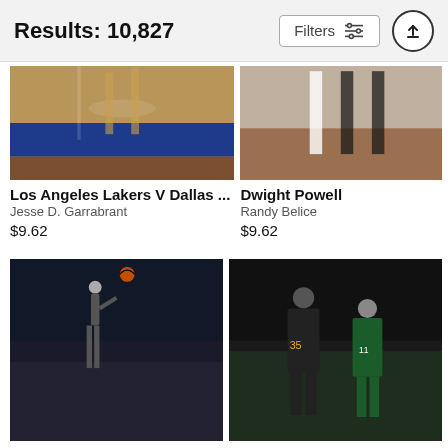Results: 10,827
Filters
[Figure (photo): Basketball court photo — Los Angeles Lakers V Dallas game, feet/legs of players visible]
Los Angeles Lakers V Dallas ...
Jesse D. Garrabrant
$9.62
[Figure (photo): Basketball game photo showing players in white and dark uniforms]
Dwight Powell
Randy Belice
$9.62
[Figure (photo): Stephen Curry shooting a basketball in a dark arena]
Stephen Curry
Nathaniel S. Butler
[Figure (photo): Kevin Durant and Kyrie Irving standing together on court]
Kevin Durant and Kyrie Irving
Noah Graham